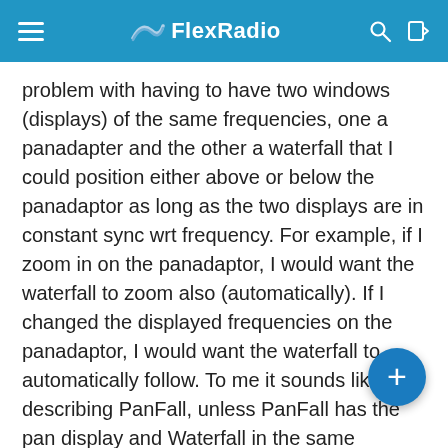FlexRadio
problem with having to have two windows (displays) of the same frequencies, one a panadapter and the other a waterfall that I could position either above or below the panadaptor as long as the two displays are in constant sync wrt frequency. For example, if I zoom in on the panadaptor, I would want the waterfall to zoom also (automatically). If I changed the displayed frequencies on the panadaptor, I would want the waterfall to automatically follow. To me it sounds like I am describing PanFall, unless PanFall has the pan display and Waterfall in the same window. To me and the way I operate, just being able to display a waterfall is useless if it doesn't track a pan display. If I have to manually tune or zoom the waterfall to keep it in sync with the panadaptor display, I will never use it. Maybe I am being short sighted and viewing everything through the PSDR paradigm. If so, could someone